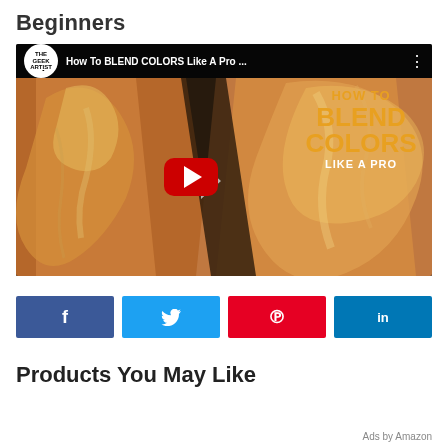Beginners
[Figure (screenshot): YouTube video thumbnail showing 'How To BLEND COLORS Like A Pro ...' by The Geek Artist channel. Shows digital art of muscular arms with color blending, with red YouTube play button in center and orange text 'HOW TO BLEND COLORS LIKE A PRO' on the right side.]
[Figure (infographic): Four social share buttons: Facebook (f), Twitter (bird icon), Pinterest (p), LinkedIn (in)]
Products You May Like
Ads by Amazon